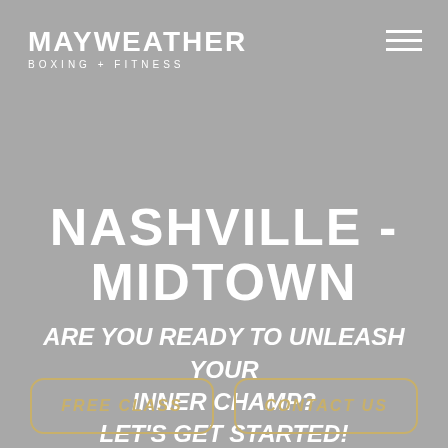[Figure (logo): Mayweather Boxing + Fitness logo in white text on gray background, top left]
NASHVILLE - MIDTOWN
ARE YOU READY TO UNLEASH YOUR INNER CHAMP? LET'S GET STARTED!
FREE CLASS
CONTACT US